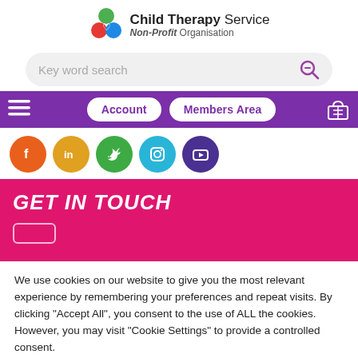[Figure (logo): Child Therapy Service Non-Profit Organisation logo with circular icon]
Key word search
Account   Members Area
[Figure (infographic): Social media icons: Facebook, LinkedIn, Twitter, Instagram, YouTube]
GET IN TOUCH
We use cookies on our website to give you the most relevant experience by remembering your preferences and repeat visits. By clicking "Accept All", you consent to the use of ALL the cookies. However, you may visit "Cookie Settings" to provide a controlled consent.
Cookie Settings   Accept All